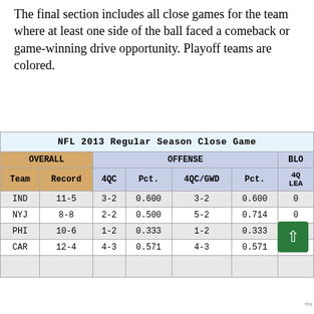The final section includes all close games for the team where at least one side of the ball faced a comeback or game-winning drive opportunity. Playoff teams are colored.
| Team | Record | 4QC | Pct. | 4QC/GWD | Pct. | 4Q LEA... |
| --- | --- | --- | --- | --- | --- | --- |
| IND | 11-5 | 3-2 | 0.600 | 3-2 | 0.600 | 0 |
| NYJ | 8-8 | 2-2 | 0.500 | 5-2 | 0.714 | 0 |
| PHI | 10-6 | 1-2 | 0.333 | 1-2 | 0.333 |  |
| CAR | 12-4 | 4-3 | 0.571 | 4-3 | 0.571 | 2 |